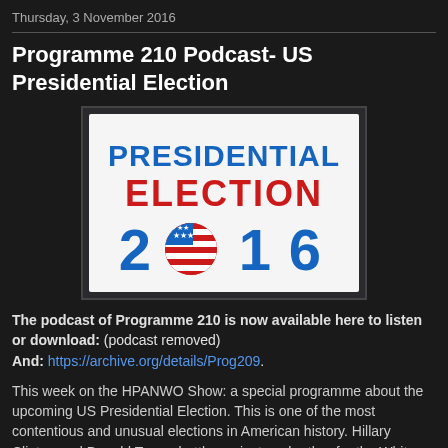Thursday, 3 November 2016
Programme 210 Podcast- US Presidential Election
[Figure (illustration): Presidential Election 2016 graphic with text 'PRESIDENTIAL ELECTION 2016' and a US flag-themed circle replacing the zero in 2016.]
The podcast of Programme 210 is now available here to listen or download: (podcast removed)
And: https://archive.org/details/Prog209.
This week on the HPANWO Show: a special programme about the upcoming US Presidential Election. This is one of the most contentious and unusual elections in American history. Hillary Clinton and Donald Trump battle against each other for the White House. Who will win? Or a more